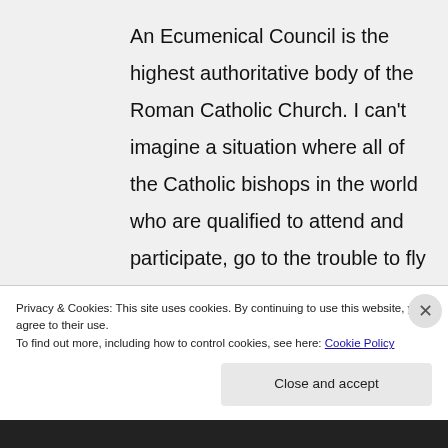An Ecumenical Council is the highest authoritative body of the Roman Catholic Church. I can't imagine a situation where all of the Catholic bishops in the world who are qualified to attend and participate, go to the trouble to fly to Rome, debating, reading, writing, and giving speeches, only to be informed that their documents are
Privacy & Cookies: This site uses cookies. By continuing to use this website, you agree to their use.
To find out more, including how to control cookies, see here: Cookie Policy
Close and accept